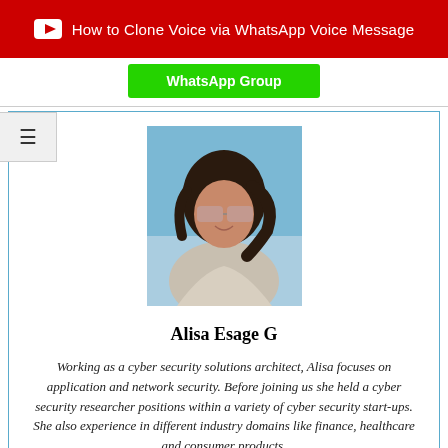[Figure (other): Red YouTube banner with play button icon and text 'How to Clone Voice via WhatsApp Voice Message']
WhatsApp Group
[Figure (photo): Profile photo of Alisa Esage G — a woman wearing sunglasses outdoors]
Alisa Esage G
Working as a cyber security solutions architect, Alisa focuses on application and network security. Before joining us she held a cyber security researcher positions within a variety of cyber security start-ups. She also experience in different industry domains like finance, healthcare and consumer products.
[Figure (other): Twitter/social media icon button (teal circle with bird icon), partially visible at bottom]